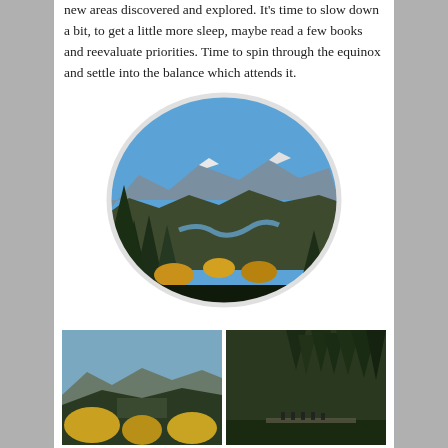new areas discovered and explored. It's time to slow down a bit, to get a little more sleep, maybe read a few books and reevaluate priorities. Time to spin through the equinox and settle into the balance which attends it.
[Figure (photo): Oval-framed landscape photo showing a mountain valley with evergreen and deciduous trees in autumn foliage, a river winding through the valley, and snow-capped mountains under a clear blue sky.]
[Figure (photo): Bottom-left photo: mountain valley landscape with hills, forested slopes, and yellow autumn foliage in the foreground.]
[Figure (photo): Bottom-right photo: dense evergreen forest with tall spruce trees and a group of people on a bridge or walkway visible at the base.]